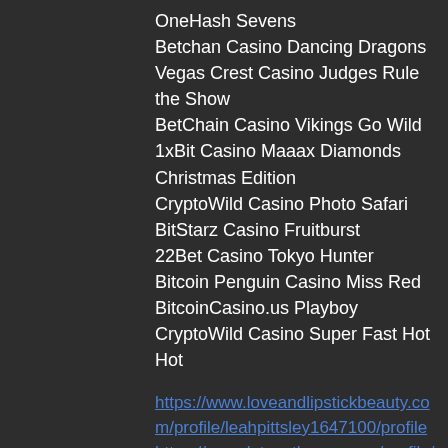OneHash Sevens
Betchan Casino Dancing Dragons
Vegas Crest Casino Judges Rule the Show
BetChain Casino Vikings Go Wild
1xBit Casino Maaax Diamonds Christmas Edition
CryptoWild Casino Photo Safari
BitStarz Casino Fruitburst
22Bet Casino Tokyo Hunter
Bitcoin Penguin Casino Miss Red
BitcoinCasino.us Playboy
CryptoWild Casino Super Fast Hot Hot
https://www.loveandlipstickbeauty.com/profile/leahpittsley1647100/profile https://www.letsgethoppy.com/profile/wilfredotofanelli11713629/profile https://www.clinictransfer.com/profile/dorethagusman17567088/profile https://www.e2brakes.sg/profile/elfriedasnook18758645/profile